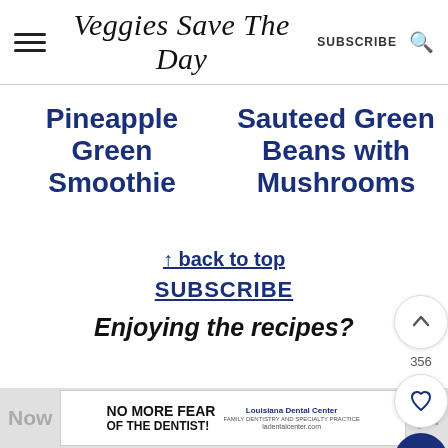Veggies Save The Day | SUBSCRIBE
Pineapple Green Smoothie
Sauteed Green Beans with Mushrooms
↑ back to top
SUBSCRIBE
Enjoying the recipes?
Now ... (or